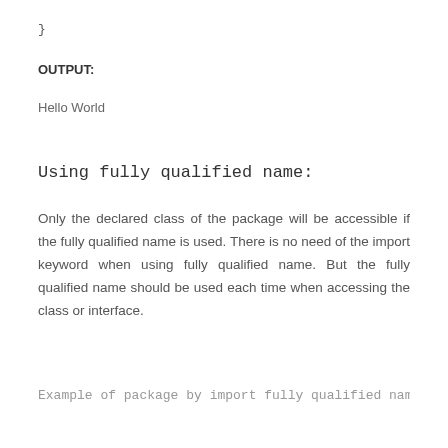}
OUTPUT:
Hello World
Using fully qualified name:
Only the declared class of the package will be accessible if the fully qualified name is used. There is no need of the import keyword when using fully qualified name. But the fully qualified name should be used each time when accessing the class or interface.
Example of package by import fully qualified name: